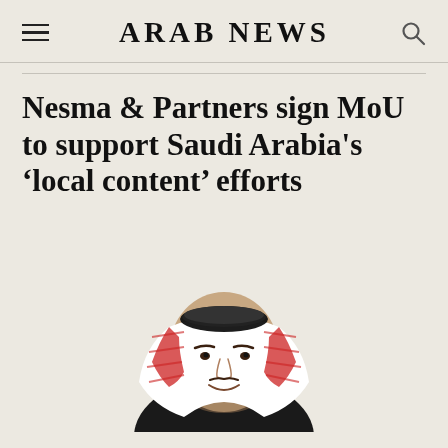ARAB NEWS
Nesma & Partners sign MoU to support Saudi Arabia’s ‘local content’ efforts
[Figure (photo): Portrait photo of a man wearing traditional Saudi headwear (red and white keffiyeh with black agal), smiling, set against a light background.]